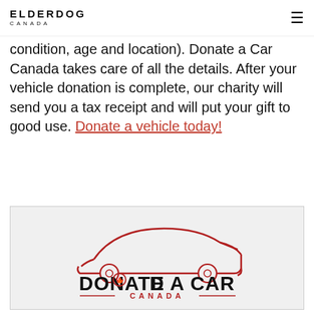ELDERDOG CANADA
condition, age and location). Donate a Car Canada takes care of all the details. After your vehicle donation is complete, our charity will send you a tax receipt and will put your gift to good use. Donate a vehicle today!
[Figure (logo): Donate a Car Canada logo — red car silhouette outline above bold black text 'DONATE A CAR' with a red maple leaf in the letter O, and red text 'CANADA' below with decorative lines]